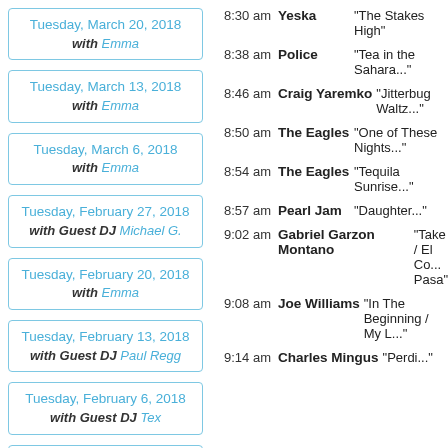Tuesday, March 20, 2018 with Emma
Tuesday, March 13, 2018 with Emma
Tuesday, March 6, 2018 with Emma
Tuesday, February 27, 2018 with Guest DJ Michael G.
Tuesday, February 20, 2018 with Emma
Tuesday, February 13, 2018 with Guest DJ Paul Regg
Tuesday, February 6, 2018 with Guest DJ Tex
Tuesday, January 30, 2018
| Time | Artist | Song |
| --- | --- | --- |
| 8:30 am | Yeska | “The Stakes High” |
| 8:38 am | Police | “Tea in the Sahara” |
| 8:46 am | Craig Yaremko | “Jitterbug Waltz” |
| 8:50 am | The Eagles | “One of These Nights” |
| 8:54 am | The Eagles | “Tequila Sunrise” |
| 8:57 am | Pearl Jam | “Daughter” |
| 9:02 am | Gabriel Garzon Montano | “Take / El Co... Pasa” |
| 9:08 am | Joe Williams | “In The Beginning / My L...” |
| 9:14 am | Charles Mingus | “Perdi...” |